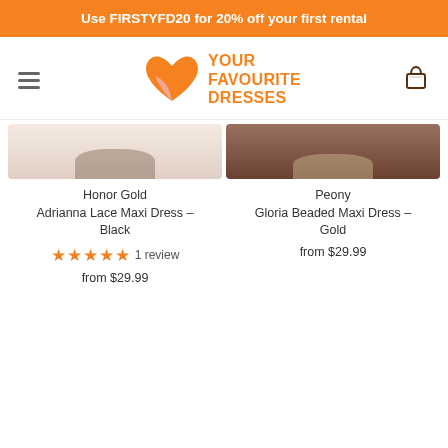Use FIRSTYFD20 for 20% off your first rental
[Figure (logo): Your Favourite Dresses logo with orange heart and text]
Honor Gold Adrianna Lace Maxi Dress - Black
★★★★★ 1 review
from $29.99
Peony Gloria Beaded Maxi Dress - Gold
from $29.99